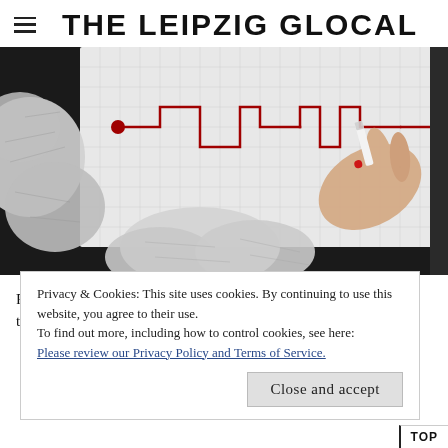THE LEIPZIG GLOCAL
[Figure (photo): A hand drawing a maze/flowchart path with a red marker on graph paper, surrounded by crumpled paper balls on a dark surface.]
Fancy working in a startup, founding one and/or learning the ropes and skills? Here's your chance to get connected in
Privacy & Cookies: This site uses cookies. By continuing to use this website, you agree to their use.
To find out more, including how to control cookies, see here:
Please review our Privacy Policy and Terms of Service.

[Close and accept]